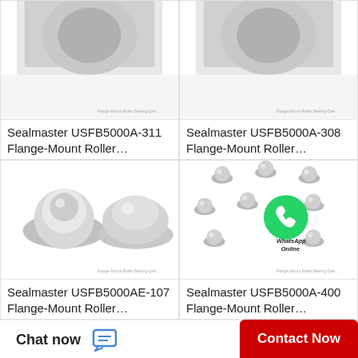[Figure (photo): Partial image of Sealmaster USFB5000A-311 Flange-Mount Roller Bearing, cut off at top, watermark text at bottom]
Sealmaster USFB5000A-311 Flange-Mount Roller...
[Figure (photo): Partial image of Sealmaster USFB5000A-308 Flange-Mount Roller Bearing, cut off at top, watermark text at bottom]
Sealmaster USFB5000A-308 Flange-Mount Roller...
[Figure (photo): Two silver ball transfer units side by side on white background, watermark text at bottom]
Sealmaster USFB5000AE-107 Flange-Mount Roller...
[Figure (photo): Multiple silver ball transfer units arranged in a group with WhatsApp Online overlay icon in center, watermark text at bottom]
Sealmaster USFB5000A-400 Flange-Mount Roller...
Chat now
Contact Now